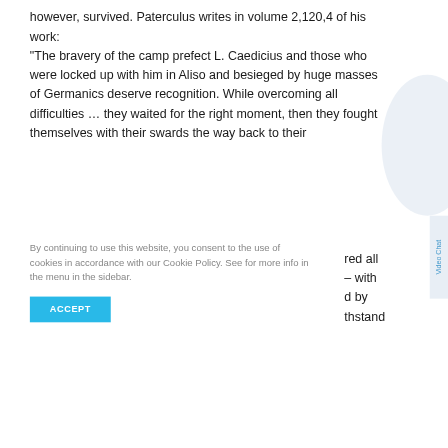however, survived. Paterculus writes in volume 2,120,4 of his work: “The bravery of the camp prefect L. Caedicius and those who were locked up with him in Aliso and besieged by huge masses of Germanics deserve recognition. While overcoming all difficulties … they waited for the right moment, then they fought themselves with their swards the way back to their
By continuing to use this website, you consent to the use of cookies in accordance with our Cookie Policy. See for more info in the menu in the sidebar.
ACCEPT
red all – with d by thstand